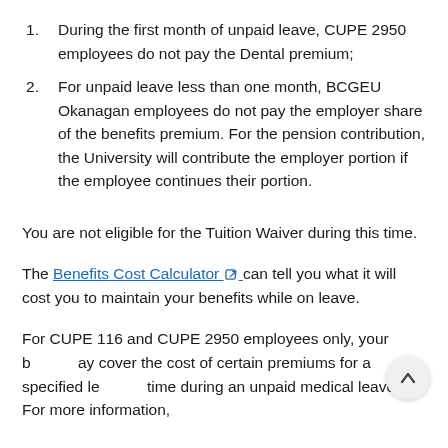During the first month of unpaid leave, CUPE 2950 employees do not pay the Dental premium;
For unpaid leave less than one month, BCGEU Okanagan employees do not pay the employer share of the benefits premium. For the pension contribution, the University will contribute the employer portion if the employee continues their portion.
You are not eligible for the Tuition Waiver during this time.
The Benefits Cost Calculator can tell you what it will cost you to maintain your benefits while on leave.
For CUPE 116 and CUPE 2950 employees only, your [benefit] may cover the cost of certain premiums for a specified length of time during an unpaid medical leave. For more information,